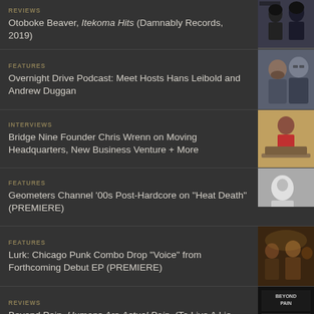REVIEWS
Otoboke Beaver, Itekoma Hits (Damnably Records, 2019)
[Figure (photo): Photo of Otoboke Beaver band members]
FEATURES
Overnight Drive Podcast: Meet Hosts Hans Leibold and Andrew Duggan
[Figure (photo): Photo of two men, podcast hosts Hans Leibold and Andrew Duggan]
INTERVIEWS
Bridge Nine Founder Chris Wrenn on Moving Headquarters, New Business Venture + More
[Figure (photo): Photo of Chris Wrenn sitting on a bench]
FEATURES
Geometers Channel '00s Post-Hardcore on "Heat Death" (PREMIERE)
[Figure (photo): Black and white photo related to Geometers]
FEATURES
Lurk: Chicago Punk Combo Drop "Voice" from Forthcoming Debut EP (PREMIERE)
[Figure (photo): Dark photo of Lurk band]
REVIEWS
Beyond Pain, Humans Are Actual Pain. (To Live A Lie Records, 2018)
[Figure (photo): Album art for Beyond Pain Humans Are Actual Pain]